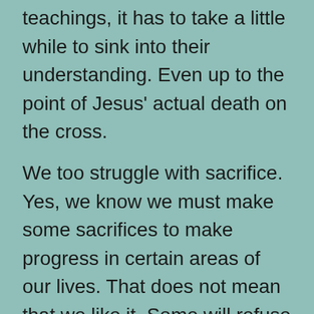teachings, it has to take a little while to sink into their understanding. Even up to the point of Jesus' actual death on the cross.
We too struggle with sacrifice. Yes, we know we must make some sacrifices to make progress in certain areas of our lives. That does not mean that we like it. Some will refuse to make needed sacrifices and will continue to troll along with the status quo. If you are happy, then this is not necessarily a bad thing. Yet, a majority of people will tell you that they wish they could do something else or struggle to reach certain goals.  Sacrifice requires us to